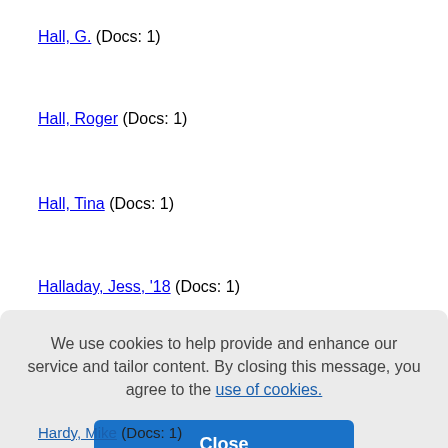Hall, G. (Docs: 1)
Hall, Roger (Docs: 1)
Hall, Tina (Docs: 1)
Halladay, Jess, '18 (Docs: 1)
Halladay, Jessica, '18 (Docs: 1)
Hamilton Community Members (Docs: 1)
Hammond, Amos (Docs: 1)
We use cookies to help provide and enhance our service and tailor content. By closing this message, you agree to the use of cookies.
Hardy, Mike (Docs: 1)